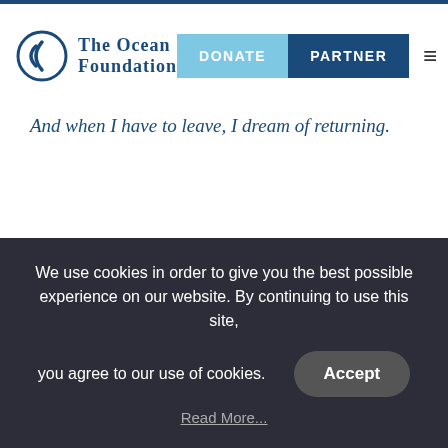The Ocean Foundation — DONATE | PARTNER
And when I have to leave, I dream of returning.
It is the summation of those feelings that led me to begin my work in ocean conservation and continues to inspire me decades later.
We use cookies in order to give you the best possible experience on our website. By continuing to use this site, you agree to our use of cookies.
Accept
Read More...